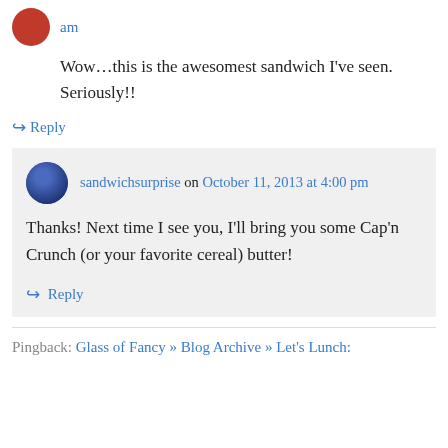am
Wow…this is the awesomest sandwich I've seen. Seriously!!
↪ Reply
sandwichsurprise on October 11, 2013 at 4:00 pm
Thanks! Next time I see you, I'll bring you some Cap'n Crunch (or your favorite cereal) butter!
↪ Reply
Pingback: Glass of Fancy » Blog Archive » Let's Lunch: